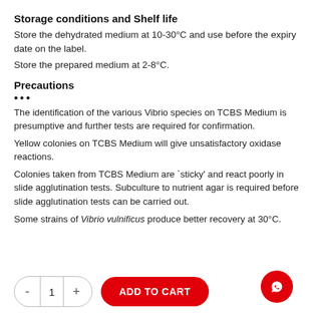Storage conditions and Shelf life
Store the dehydrated medium at 10-30°C and use before the expiry date on the label.
Store the prepared medium at 2-8°C.
Precautions
The identification of the various Vibrio species on TCBS Medium is presumptive and further tests are required for confirmation.
Yellow colonies on TCBS Medium will give unsatisfactory oxidase reactions.
Colonies taken from TCBS Medium are 'sticky' and react poorly in slide agglutination tests. Subculture to nutrient agar is required before slide agglutination tests can be carried out.
Some strains of Vibrio vulnificus produce better recovery at 30°C.